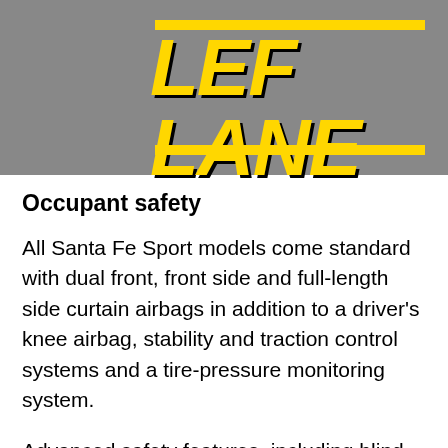lane departure warning, an electronic parking brake and automatic windshield-wiping headlamps with high beam assist.
[Figure (logo): Left Lane logo — bold yellow italic text 'LEFT LANE' with yellow horizontal rules above and below on a grey background]
Occupant safety
All Santa Fe Sport models come standard with dual front, front side and full-length side curtain airbags in addition to a driver's knee airbag, stability and traction control systems and a tire-pressure monitoring system.
Advanced safety features, including blind spot monitoring, rear cross-traffic alert, lane change assist, including smart cruise control with stop/start, automated emergency braking